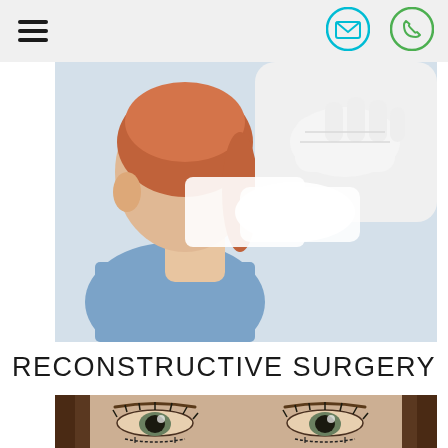Navigation header with hamburger menu, email icon, and phone icon
[Figure (photo): Close-up of a doctor in white gloves examining or treating a female patient's face/jaw area. The patient has red hair in a ponytail and is wearing a denim jacket. Clinical setting with white/blue background.]
RECONSTRUCTIVE SURGERY
[Figure (photo): Close-up of a young woman's face with surgical marker lines drawn below her eyes, indicating pre-operative markings for reconstructive or cosmetic surgery.]